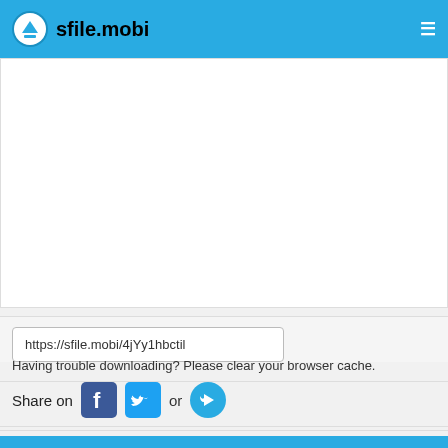sfile.mobi
[Figure (screenshot): White advertisement/content placeholder block]
https://sfile.mobi/4jYy1hbctil
Having trouble downloading? Please clear your browser cache.
Share on [Facebook icon] [Twitter icon] or [Share icon]